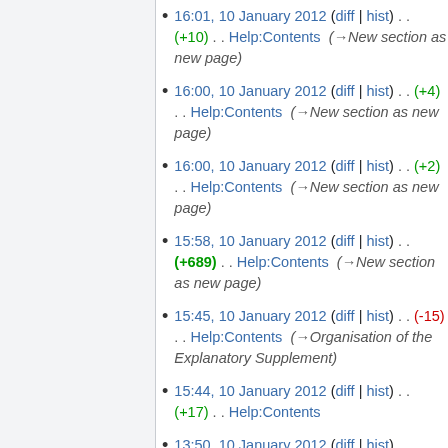16:01, 10 January 2012 (diff | hist) . . (+10) . . Help:Contents (→New section as new page)
16:00, 10 January 2012 (diff | hist) . . (+4) . . Help:Contents (→New section as new page)
16:00, 10 January 2012 (diff | hist) . . (+2) . . Help:Contents (→New section as new page)
15:58, 10 January 2012 (diff | hist) . . (+689) . . Help:Contents (→New section as new page)
15:45, 10 January 2012 (diff | hist) . . (-15) . . Help:Contents (→Organisation of the Explanatory Supplement)
15:44, 10 January 2012 (diff | hist) . . (+17) . . Help:Contents
13:50, 10 January 2012 (diff | hist) . . (+275) . . Help:Contents (→New